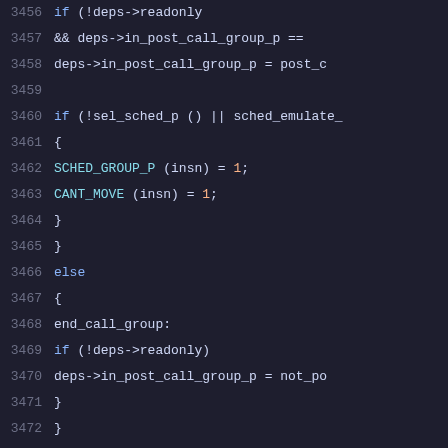Source code listing, lines 3456-3477, C programming language with syntax highlighting